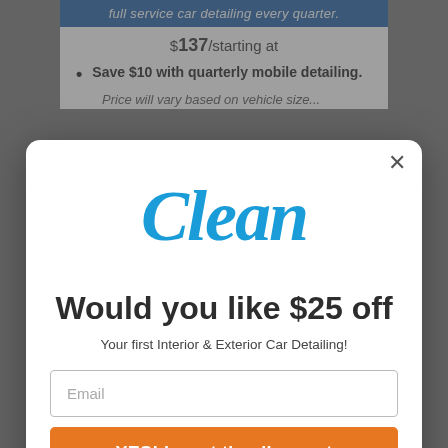full service car detailing every quarter.
$137/starting at
Save $10 with quarterly mobile detailing.
[Figure (screenshot): Modal popup for 'Clean' car detailing service offering $25 off first Interior & Exterior Car Detailing with email signup, orange CTA button 'YES! I want the discount', and 'No Thanks' link.]
Would you like $25 off
Your first Interior & Exterior Car Detailing!
Email
YES! I want the discount
No Thanks